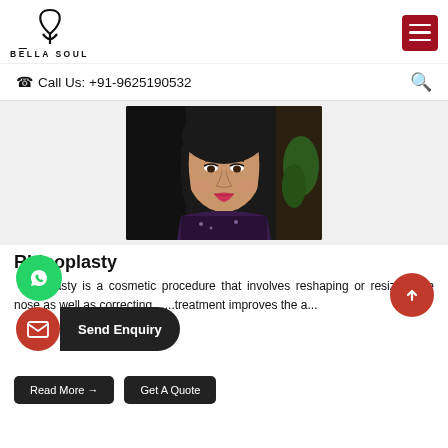[Figure (logo): Bella Soul logo with stylized letter B and brand name BELLA SOUL]
Call Us: +91-9625190532
[Figure (photo): Portrait photo of a woman with dark hair, wearing a dark sparkly outfit, against a dark background with greenery]
Rhinoplasty
Rhinoplasty is a cosmetic procedure that involves reshaping or resizing the nose as well as correcting... treatment improves the a...
Read More →   Get A Quote